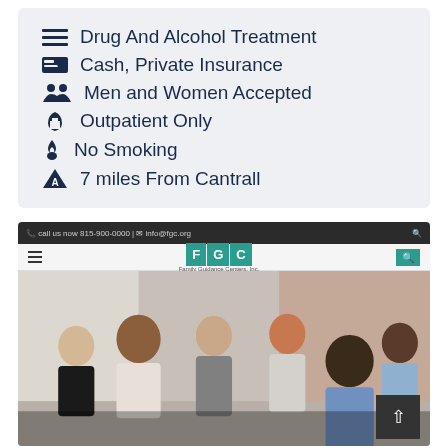Drug And Alcohol Treatment
Cash, Private Insurance
Men and Women Accepted
Outpatient Only
No Smoking
7 miles From Cantrall
[Figure (screenshot): Screenshot of FGC (Family Guidance Centers) website showing navigation bar with hamburger menu, FGC logo, and a group therapy session photo with people seated in a circle]